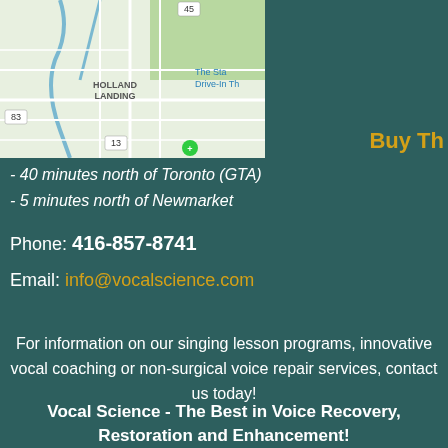[Figure (map): Street map showing Holland Landing area near Toronto, Ontario, Canada]
Buy Th
- 40 minutes north of Toronto (GTA)
- 5 minutes north of Newmarket
Phone: 416-857-8741
Email: info@vocalscience.com
For information on our singing lesson programs, innovative vocal coaching or non-surgical voice repair services, contact us today!
Vocal Science - The Best in Voice Recovery, Restoration and Enhancement!